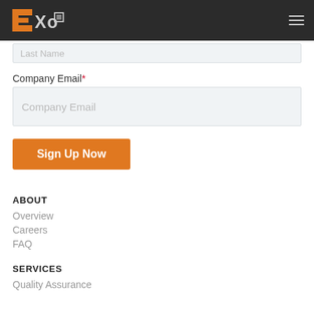EXO (logo) | navigation menu
Last Name
Company Email*
Company Email (input field)
Sign Up Now
ABOUT
Overview
Careers
FAQ
SERVICES
Quality Assurance